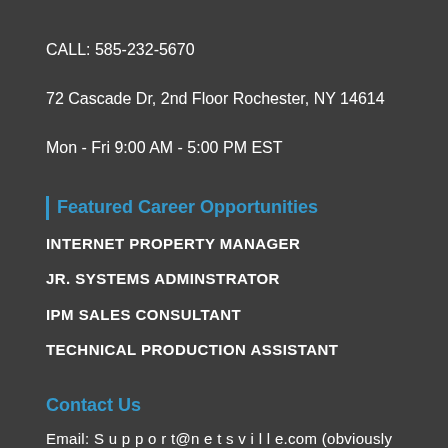CALL: 585-232-5670
72 Cascade Dr, 2nd Floor Rochester, NY 14614
Mon - Fri 9:00 AM - 5:00 PM EST
Featured Career Opportunities
INTERNET PROPERTY MANAGER
JR. SYSTEMS ADMINSTRATOR
IPM SALES CONSULTANT
TECHNICAL PRODUCTION ASSISTANT
Contact Us
Email: S u p p o r t@n e t s v i l l e.com (obviously